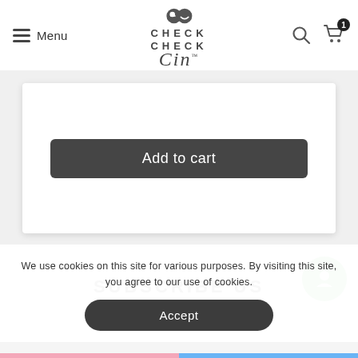[Figure (logo): Check Check Cin logo with eyes icon at top center of navigation header]
Menu
Add to cart
SUBSCRIBE US
We use cookies on this site for various purposes. By visiting this site, you agree to our use of cookies.
Accept